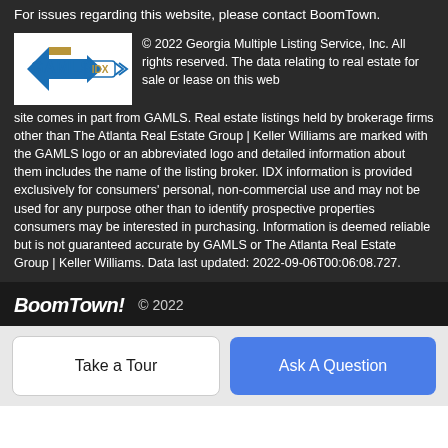For issues regarding this website, please contact BoomTown.
[Figure (logo): GAMLS IDX logo — blue and tan arrows with GAMLS text and IDX badge]
© 2022 Georgia Multiple Listing Service, Inc. All rights reserved. The data relating to real estate for sale or lease on this web site comes in part from GAMLS. Real estate listings held by brokerage firms other than The Atlanta Real Estate Group | Keller Williams are marked with the GAMLS logo or an abbreviated logo and detailed information about them includes the name of the listing broker. IDX information is provided exclusively for consumers' personal, non-commercial use and may not be used for any purpose other than to identify prospective properties consumers may be interested in purchasing. Information is deemed reliable but is not guaranteed accurate by GAMLS or The Atlanta Real Estate Group | Keller Williams. Data last updated: 2022-09-06T00:06:08.727.
BoomTown! © 2022
Take a Tour
Ask A Question